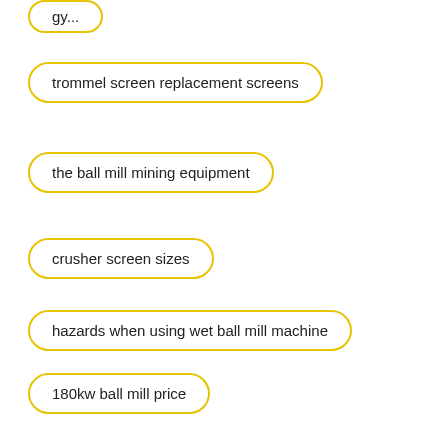trommel screen replacement screens
the ball mill mining equipment
crusher screen sizes
hazards when using wet ball mill machine
180kw ball mill price
center less grinding machine magnet sepreter price and
Leave Message   Chat Online